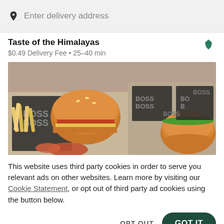Enter delivery address
Taste of the Himalayas
$0.49 Delivery Fee • 25-40 min
[Figure (photo): Overhead photo of burgers and fries on trays with 'BOSS' branded wrappers]
This website uses third party cookies in order to serve you relevant ads on other websites. Learn more by visiting our Cookie Statement, or opt out of third party ad cookies using the button below.
OPT OUT
GOT IT